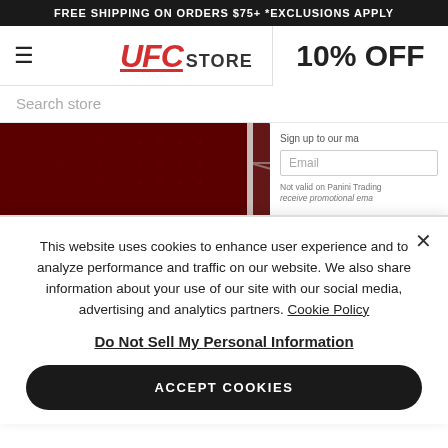FREE SHIPPING ON ORDERS $75+ *EXCLUSIONS APPLY
[Figure (logo): UFC Store logo with red italic UFC text and gray STORE text]
10% OFF
Search store
[Figure (photo): UFC octagon cage top-down view with dark red background and diamond pattern]
Sign up to our ma
Email
Not valid on Panini Trading
receive promotional ema
This website uses cookies to enhance user experience and to analyze performance and traffic on our website. We also share information about your use of our site with our social media, advertising and analytics partners. Cookie Policy
Do Not Sell My Personal Information
ACCEPT COOKIES